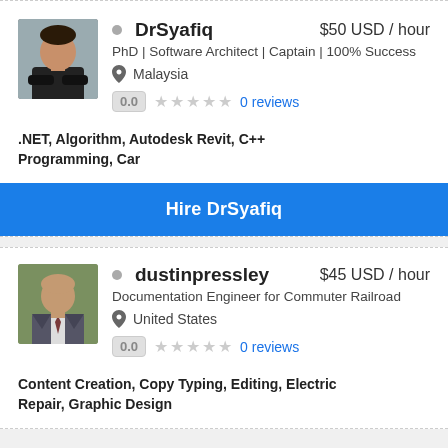[Figure (photo): Profile photo of DrSyafiq, a man in black shirt with arms crossed]
DrSyafiq  $50 USD / hour
PhD | Software Architect | Captain | 100% Success
Malaysia
0.0  ★★★★★  0 reviews
.NET, Algorithm, Autodesk Revit, C++ Programming, Car
Hire DrSyafiq
[Figure (photo): Profile photo of dustinpressley, a man in a suit]
dustinpressley  $45 USD / hour
Documentation Engineer for Commuter Railroad
United States
0.0  ★★★★★  0 reviews
Content Creation, Copy Typing, Editing, Electric Repair, Graphic Design